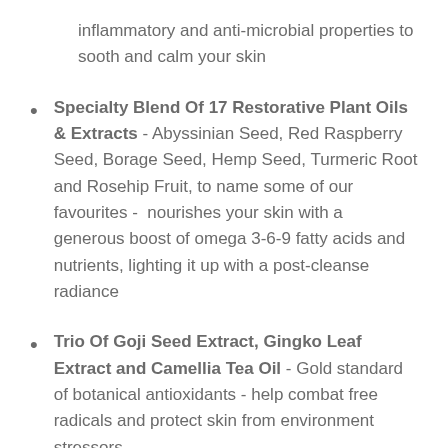inflammatory and anti-microbial properties to sooth and calm your skin
Specialty Blend Of 17 Restorative Plant Oils & Extracts - Abyssinian Seed, Red Raspberry Seed, Borage Seed, Hemp Seed, Turmeric Root and Rosehip Fruit, to name some of our favourites - nourishes your skin with a generous boost of omega 3-6-9 fatty acids and nutrients, lighting it up with a post-cleanse radiance
Trio Of Goji Seed Extract, Gingko Leaf Extract and Camellia Tea Oil - Gold standard of botanical antioxidants - help combat free radicals and protect skin from environment stressors